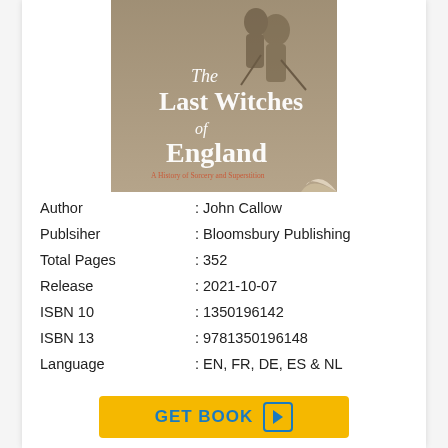[Figure (photo): Book cover of 'The Last Witches of England' by John Callow, published by Bloomsbury Publishing. Cover shows a brownish-tan historical illustration of figures, with white serif text reading 'The Last Witches of England' and a red subtitle.]
| Author | : John Callow |
| Publsiher | : Bloomsbury Publishing |
| Total Pages | : 352 |
| Release | : 2021-10-07 |
| ISBN 10 | : 1350196142 |
| ISBN 13 | : 9781350196148 |
| Language | : EN, FR, DE, ES & NL |
GET BOOK ▶